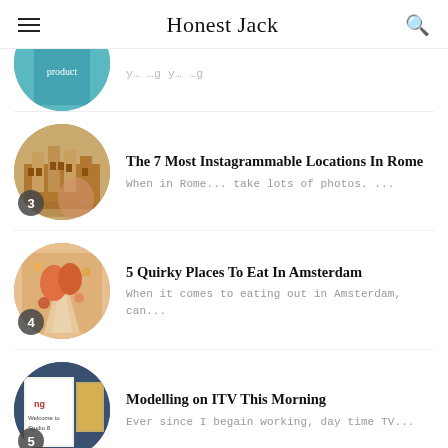Honest Jack
[Figure (photo): Partial circular thumbnail of a teal/green product, partially visible at top of list]
When in Rome... take lots of photos. ...
[Figure (photo): Circular thumbnail showing the Colosseum in Rome, numbered 3]
The 7 Most Instagrammable Locations In Rome
When in Rome... take lots of photos. ...
[Figure (photo): Circular thumbnail showing someone holding an ice cream cone in Amsterdam, numbered 4]
5 Quirky Places To Eat In Amsterdam
When it comes to eating out in Amsterdam, can...
[Figure (photo): Circular thumbnail showing ITV This Morning studio sign, numbered 5]
Modelling on ITV This Morning
Ever since I begain working, day time TV...